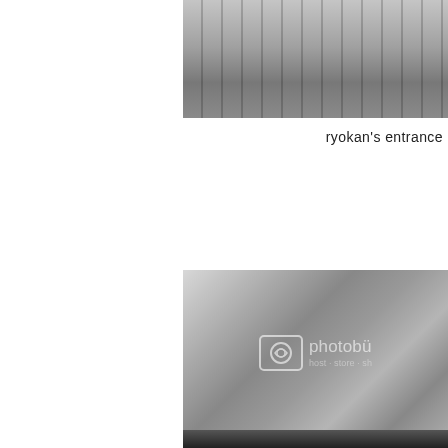[Figure (photo): Black and white photograph of a ryokan's entrance, showing hanging garments and wooden architectural details]
ryokan's entrance
[Figure (photo): Black and white photograph of a sculpture in a temple, with photobucket watermark overlay showing wooden structural elements and a figure]
sculpture in a temp
[Figure (photo): Partial black and white photograph at bottom of page]